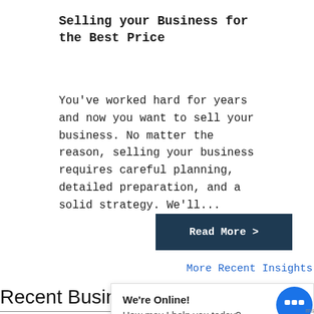Selling your Business for the Best Price
You've worked hard for years and now you want to sell your business. No matter the reason, selling your business requires careful planning, detailed preparation, and a solid strategy. We'll...
Read More >
More Recent Insights
Recent Busin
We're Online!
How may I help you today?